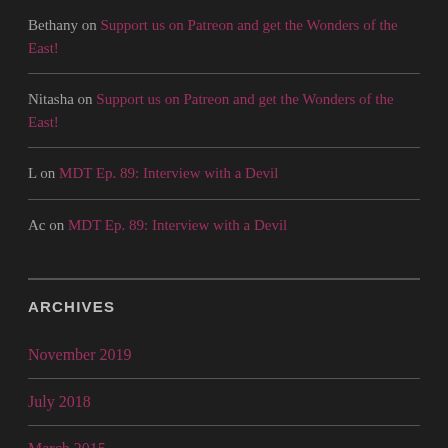Bethany on Support us on Patreon and get the Wonders of the East!
Nitasha on Support us on Patreon and get the Wonders of the East!
L on MDT Ep. 89: Interview with a Devil
Ac on MDT Ep. 89: Interview with a Devil
ARCHIVES
November 2019
July 2018
March 2015